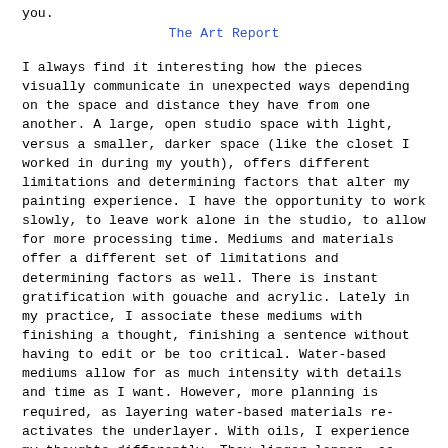you.
The Art Report
I always find it interesting how the pieces visually communicate in unexpected ways depending on the space and distance they have from one another. A large, open studio space with light, versus a smaller, darker space (like the closet I worked in during my youth), offers different limitations and determining factors that alter my painting experience. I have the opportunity to work slowly, to leave work alone in the studio, to allow for more processing time. Mediums and materials offer a different set of limitations and determining factors as well. There is instant gratification with gouache and acrylic. Lately in my practice, I associate these mediums with finishing a thought, finishing a sentence without having to edit or be too critical. Water-based mediums allow for as much intensity with details and time as I want. However, more planning is required, as layering water-based materials re-activates the underlayer. With oils, I experience my thoughts differently. They linger longer, as there are different restrictions and freedoms that add to the depth and texture of the pieces. One limitation to oil painting is that